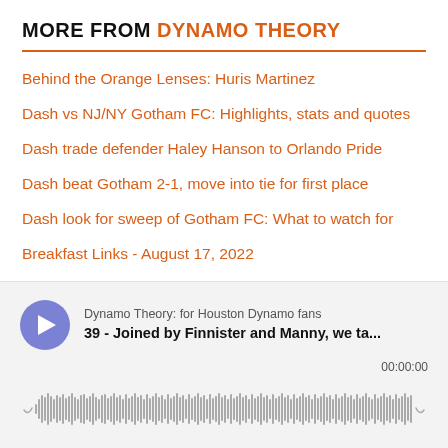MORE FROM DYNAMO THEORY
Behind the Orange Lenses: Huris Martinez
Dash vs NJ/NY Gotham FC: Highlights, stats and quotes
Dash trade defender Haley Hanson to Orlando Pride
Dash beat Gotham 2-1, move into tie for first place
Dash look for sweep of Gotham FC: What to watch for
Breakfast Links - August 17, 2022
[Figure (screenshot): Podcast player widget showing 'Dynamo Theory: for Houston Dynamo fans' with episode '39 - Joined by Finnister and Manny, we ta...' at 00:00:00 with waveform visualization]